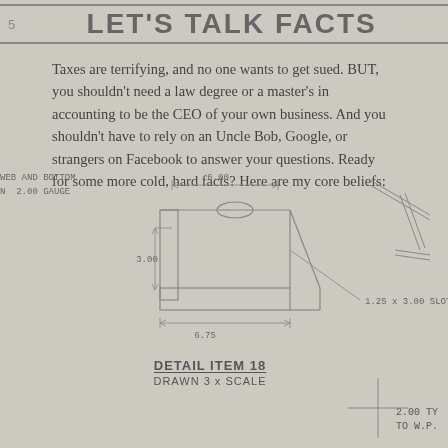5   LET'S TALK FACTS
Taxes are terrifying, and no one wants to get sued. BUT, you shouldn't need a law degree or a master's in accounting to be the CEO of your own business. And you shouldn't have to rely on an Uncle Bob, Google, or strangers on Facebook to answer your questions. Ready for some more cold, hard facts? Here are my core beliefs:
[Figure (engineering-diagram): Engineering detail drawing of item 18, showing a slotted bracket/plate with dimensions: 6.00, 3.00, 6.75 width, 2.00 depth. Slot labeled '1.25 x 3.00 SLOT'. Annotation reads WEB AND BOTTOM, 2.00 GAUGE. Drawn at 3x scale.]
DETAIL ITEM 18
DRAWN 3 x SCALE
2.00 TY
TO W.P.